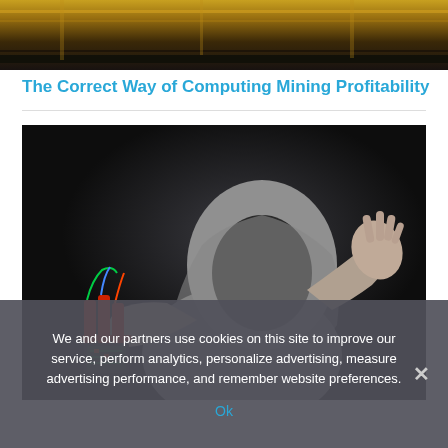[Figure (photo): Top portion of a photo showing what appears to be a train or machinery with golden/dark tones]
The Correct Way of Computing Mining Profitability
[Figure (photo): Person in a grey hoodie holding electronic components (circuit-board device) in one hand and raising the other hand toward the camera, against a dark background]
We and our partners use cookies on this site to improve our service, perform analytics, personalize advertising, measure advertising performance, and remember website preferences.
Ok